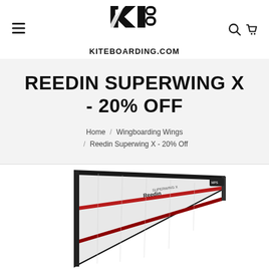[Figure (logo): Kiteboarding.com logo: stylized KB monogram in black above the text KITEBOARDING.COM]
REEDIN SUPERWING X - 20% OFF
Home / Wingboarding Wings / Reedin Superwing X - 20% Off
[Figure (photo): Reedin Superwing X wingboarding wing, white with red and black frame/struts, Reedin branding visible, shown from the side at an angle]